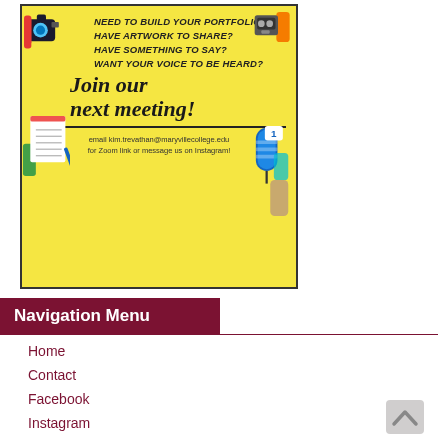[Figure (illustration): Yellow flyer for a student publication/media club meeting. Text reads: NEED TO BUILD YOUR PORTFOLIO? HAVE ARTWORK TO SHARE? HAVE SOMETHING TO SAY? WANT YOUR VOICE TO BE HEARD? Join our next meeting! email kim.trevathan@maryvillecollege.edu for Zoom link or message us on Instagram! Decorative icons of camera, tape recorder, notepad, and microphone.]
Navigation Menu
Home
Contact
Facebook
Instagram